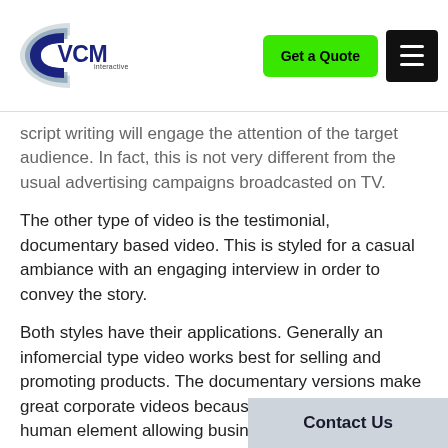[Figure (logo): VCM Interactive logo — a stylized C shape in blue/grey tones with 'VCM' text in dark blue and 'interactive' in small text]
script writing will engage the attention of the target audience. In fact, this is not very different from the usual advertising campaigns broadcasted on TV.
The other type of video is the testimonial, documentary based video. This is styled for a casual ambiance with an engaging interview in order to convey the story.
Both styles have their applications. Generally an infomercial type video works best for selling and promoting products. The documentary versions make great corporate videos because they bring more of a human element allowing businesses to promote their brand while showcasing the key people behind it.
When you are selling your serv